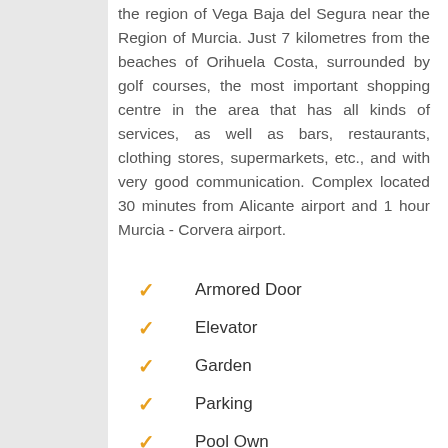the region of Vega Baja del Segura near the Region of Murcia. Just 7 kilometres from the beaches of Orihuela Costa, surrounded by golf courses, the most important shopping centre in the area that has all kinds of services, as well as bars, restaurants, clothing stores, supermarkets, etc., and with very good communication. Complex located 30 minutes from Alicante airport and 1 hour Murcia - Corvera airport.
Armored Door
Elevator
Garden
Parking
Pool Own